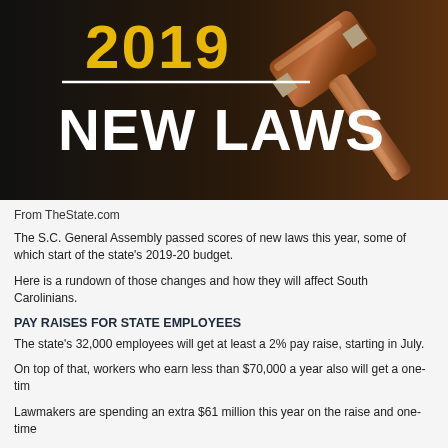[Figure (photo): Dark background image showing '2019 NEW LAWS' text in gold and white bold font, with a wooden gavel on the right side. A white horizontal line separates '2019' from 'NEW LAWS'.]
From TheState.com
The S.C. General Assembly passed scores of new laws this year, some of which start of the state's 2019-20 budget.
Here is a rundown of those changes and how they will affect South Carolinians.
PAY RAISES FOR STATE EMPLOYEES
The state's 32,000 employees will get at least a 2% pay raise, starting in July.
On top of that, workers who earn less than $70,000 a year also will get a one-tim
Lawmakers are spending an extra $61 million this year on the raise and one-time